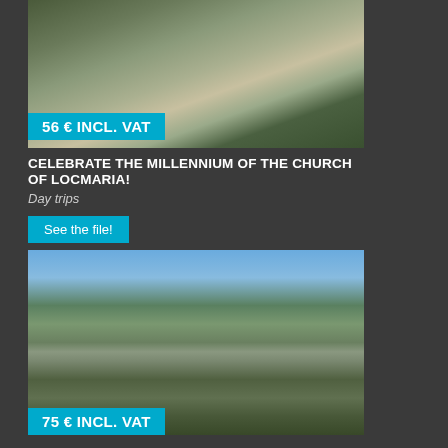[Figure (photo): Photo of the Church of Locmaria, a stone medieval church with surrounding stone buildings and trees]
56 € INCL. VAT
CELEBRATE THE MILLENNIUM OF THE CHURCH OF LOCMARIA!
Day trips
See the file!
[Figure (photo): Photo of a French stone castle/manor with gardens in the foreground, blue sky above]
75 € INCL. VAT